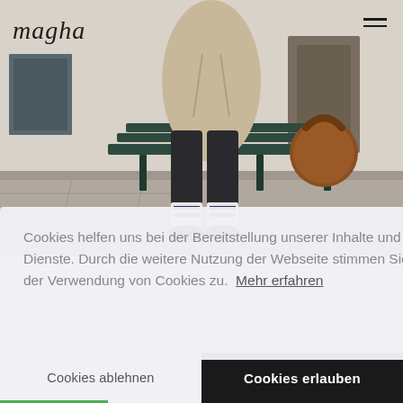[Figure (photo): Person sitting on a dark green bench on a city sidewalk, wearing a beige trench coat and dark trousers with striped socks. A brown leather handbag sits on the bench beside them. A building facade is visible in the background.]
magha
Cookies helfen uns bei der Bereitstellung unserer Inhalte und Dienste. Durch die weitere Nutzung der Webseite stimmen Sie der Verwendung von Cookies zu.  Mehr erfahren
Cookies ablehnen
Cookies erlauben